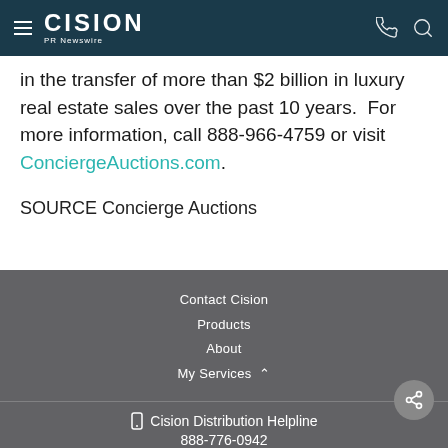Cision PR Newswire
in the transfer of more than $2 billion in luxury real estate sales over the past 10 years.  For more information, call 888-966-4759 or visit ConciergeAuctions.com.
SOURCE Concierge Auctions
Contact Cision
Products
About
My Services
Cision Distribution Helpline
888-776-0942